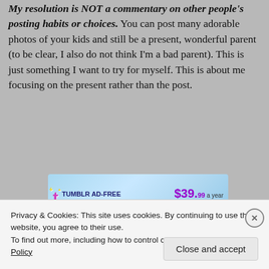My resolution is NOT a commentary on other people's posting habits or choices. You can post many adorable photos of your kids and still be a present, wonderful parent (to be clear, I also do not think I'm a bad parent). This is just something I want to try for myself. This is about me focusing on the present rather than the post.
[Figure (other): Tumblr Ad-Free Browsing advertisement banner showing $39.99 a year or $4.99 a month]
Privacy & Cookies: This site uses cookies. By continuing to use this website, you agree to their use.
To find out more, including how to control cookies, see here: Cookie Policy